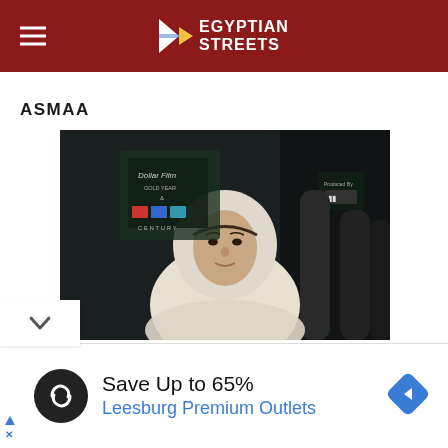Egyptian Streets
ASMAA
[Figure (photo): Movie still from the film Asmaa: a woman in white hijab seated on a bus/transit vehicle, with Dollar Film production title card overlay on the left side and a logo on the right.]
[Figure (infographic): Advertisement banner: Save Up to 65% Leesburg Premium Outlets, with a circular infinity logo icon on left and blue diamond navigation arrow on right.]